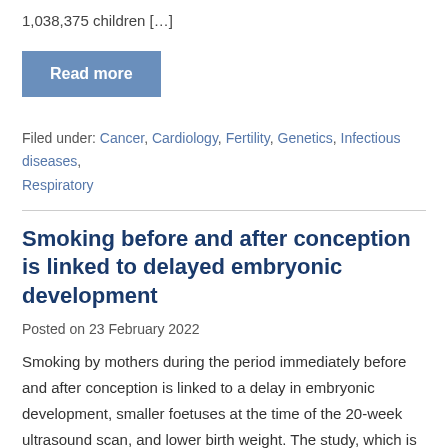1,038,375 children […]
Read more
Filed under: Cancer, Cardiology, Fertility, Genetics, Infectious diseases, Respiratory
Smoking before and after conception is linked to delayed embryonic development
Posted on 23 February 2022
Smoking by mothers during the period immediately before and after conception is linked to a delay in embryonic development, smaller foetuses at the time of the 20-week ultrasound scan, and lower birth weight. The study, which is published in Human Reproduction [1], one of the world's leading